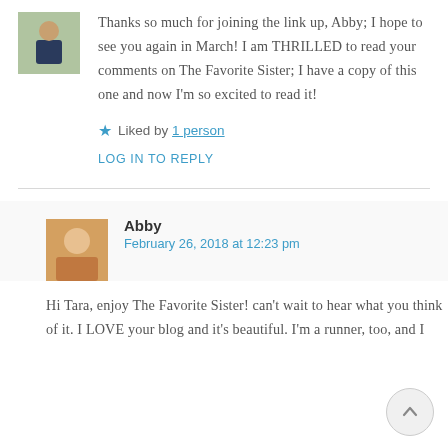[Figure (photo): Small avatar photo of a person at top left]
Thanks so much for joining the link up, Abby; I hope to see you again in March! I am THRILLED to read your comments on The Favorite Sister; I have a copy of this one and now I'm so excited to read it!
★ Liked by 1 person
LOG IN TO REPLY
[Figure (photo): Small avatar photo of Abby]
Abby
February 26, 2018 at 12:23 pm
Hi Tara, enjoy The Favorite Sister! can't wait to hear what you think of it. I LOVE your blog and it's beautiful. I'm a runner, too, and I